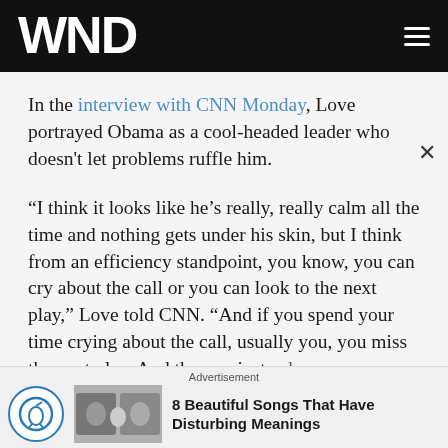WND
In the interview with CNN Monday, Love portrayed Obama as a cool-headed leader who doesn't let problems ruffle him.
“I think it looks like he’s really, really calm all the time and nothing gets under his skin, but I think from an efficiency standpoint, you know, you can cry about the call or you can look to the next play,” Love told CNN. “And if you spend your time crying about the call, usually you, you miss the next play. And then … instead of having one bad play, now you have two.”
Advertisement
8 Beautiful Songs That Have Disturbing Meanings